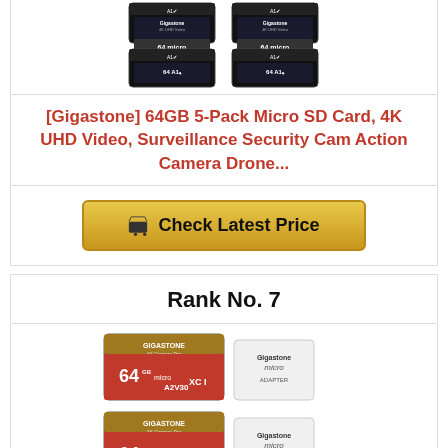[Figure (photo): Product image of Gigastone 64GB 5-Pack Micro SD cards with A1 4K UHD Video labels, shown in a 2x2 grid arrangement]
[Gigastone] 64GB 5-Pack Micro SD Card, 4K UHD Video, Surveillance Security Cam Action Camera Drone...
Check Latest Price
Rank No. 7
[Figure (photo): Product image of Gigastone 64GB 4K Camera Pro Micro SD card (A2 V30) with SD adapter, shown twice]